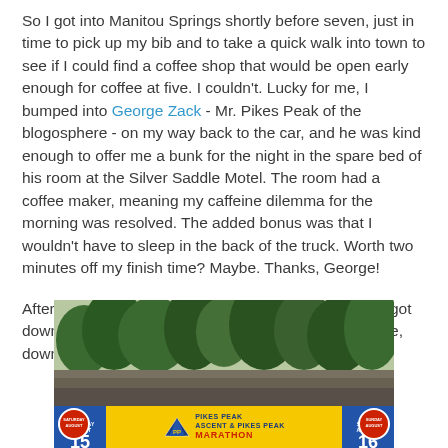So I got into Manitou Springs shortly before seven, just in time to pick up my bib and to take a quick walk into town to see if I could find a coffee shop that would be open early enough for coffee at five. I couldn't. Lucky for me, I bumped into George Zack - Mr. Pikes Peak of the blogosphere - on my way back to the car, and he was kind enough to offer me a bunk for the night in the spare bed of his room at the Silver Saddle Motel. The room had a coffee maker, meaning my caffeine dilemma for the morning was resolved. The added bonus was that I wouldn't have to sleep in the back of the truck. Worth two minutes off my finish time? Maybe. Thanks, George!
After shooting the breeze and talking Pikes for a bit, I got down for a great night's sleep. Got up, made the coffee, downed two glazed donuts and got ready for the off.
[Figure (photo): Photo of Pikes Peak Ascent/Marathon event banner stretched across a road area. Banner is yellow with blue end panels. Left blue panel shows 'Saturday August 15', right blue panel shows 'Sunday August 16'. Center yellow banner reads 'Pikes Peak Ascent' and 'Pikes Peak Marathon'. Trees and sunlight visible in background.]